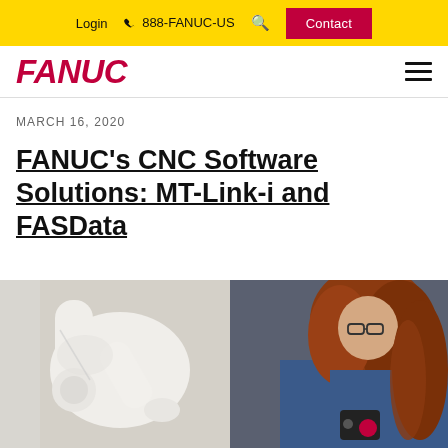Login  888-FANUC-US  Contact
FANUC
MARCH 16, 2020
FANUC's CNC Software Solutions: MT-Link-i and FASData
[Figure (photo): Photo showing a white FANUC robot arm on the left and a woman with red/auburn hair and glasses operating a FANUC controller on the right, wearing a blue jacket.]